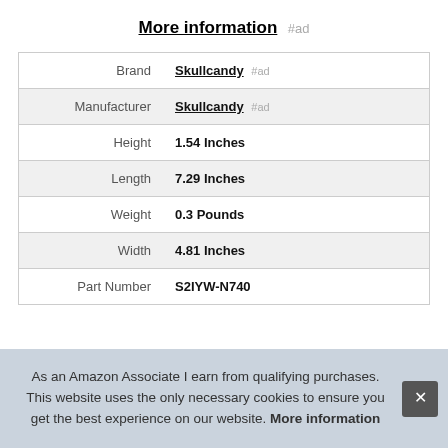More information #ad
| Attribute | Value |
| --- | --- |
| Brand | Skullcandy #ad |
| Manufacturer | Skullcandy #ad |
| Height | 1.54 Inches |
| Length | 7.29 Inches |
| Weight | 0.3 Pounds |
| Width | 4.81 Inches |
| Part Number | S2IYW-N740 |
As an Amazon Associate I earn from qualifying purchases. This website uses the only necessary cookies to ensure you get the best experience on our website. More information